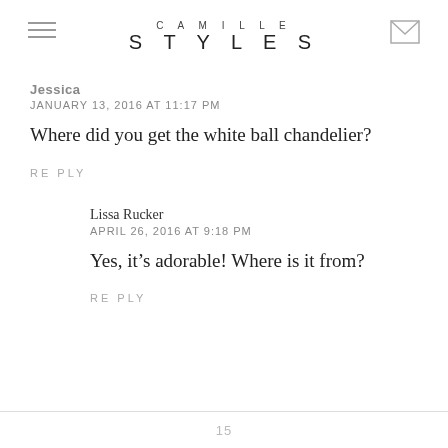CAMILLE STYLES
Jessica
JANUARY 13, 2016 AT 11:17 PM
Where did you get the white ball chandelier?
RE PLY
Lissa Rucker
APRIL 26, 2016 AT 9:18 PM
Yes, it’s adorable! Where is it from?
RE PLY
15